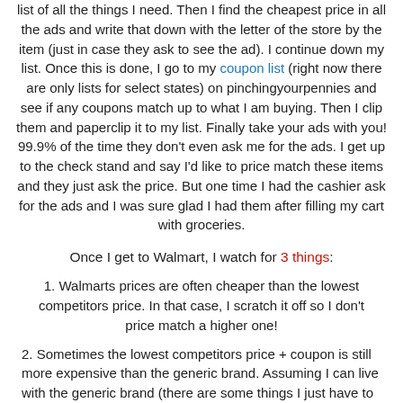list of all the things I need. Then I find the cheapest price in all the ads and write that down with the letter of the store by the item (just in case they ask to see the ad). I continue down my list. Once this is done, I go to my coupon list (right now there are only lists for select states) on pinchingyourpennies and see if any coupons match up to what I am buying. Then I clip them and paperclip it to my list. Finally take your ads with you! 99.9% of the time they don't even ask me for the ads. I get up to the check stand and say I'd like to price match these items and they just ask the price. But one time I had the cashier ask for the ads and I was sure glad I had them after filling my cart with groceries.
Once I get to Walmart, I watch for 3 things:
1. Walmarts prices are often cheaper than the lowest competitors price. In that case, I scratch it off so I don't price match a higher one!
2. Sometimes the lowest competitors price + coupon is still more expensive than the generic brand. Assuming I can live with the generic brand (there are some things I just have to